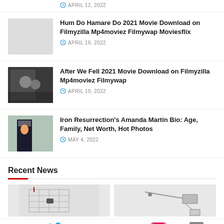APRIL 12, 2022
[Figure (photo): Movie thumbnail placeholder (light gray)]
Hum Do Hamare Do 2021 Movie Download on Filmyzilla Mp4moviez Filmywap Moviesflix
APRIL 19, 2022
[Figure (photo): After We Fell movie scene - couple close up]
After We Fell 2021 Movie Download on Filmyzilla Mp4moviez Filmywap
APRIL 19, 2022
[Figure (photo): Woman in black t-shirt outdoors]
Iron Resurrection's Amanda Martin Bio: Age, Family, Net Worth, Hot Photos
MAY 4, 2022
Recent News
[Figure (photo): Antenna/grid device thumbnail]
[Figure (photo): Engineering tool/bracket thumbnail]